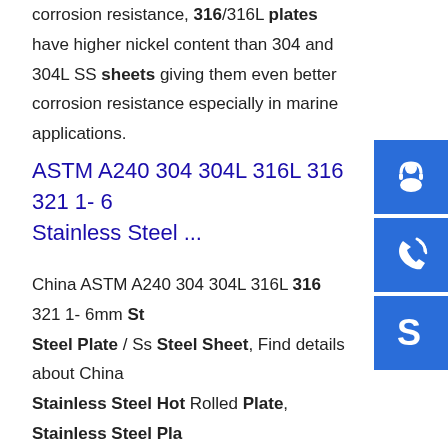corrosion resistance, 316/316L plates have higher nickel content than 304 and 304L SS sheets giving them even better corrosion resistance especially in marine applications.
ASTM A240 304 304L 316L 316 321 1- 6 Stainless Steel ...
China ASTM A240 304 304L 316L 316 321 1- 6mm Stainless Steel Plate / Ss Steel Sheet, Find details about China Stainless Steel Hot Rolled Plate, Stainless Steel Plate ASTM A240 304 304L 316L 316 321 1- 6mm Stainless Plate / Ss Steel Sheet - ...sp.info [Hot Item] ASTM AISI SUS JIS 201 304 304L 316 316L 321 ...China ASTM AISI SUS JIS 201 304 304L 316 316L 321 309S 310S 361ti 3-100mm 1500 * 1000-6000 Dimensionable Hot Rolled Medium Thickness Stainless Steel Plate, Find details about China Stainless Steel Sheet, Stainless Steel Plate from ASTM AISI SUS JIS
[Figure (illustration): Three blue sidebar buttons: customer service headset icon, phone/call icon, and Skype icon]